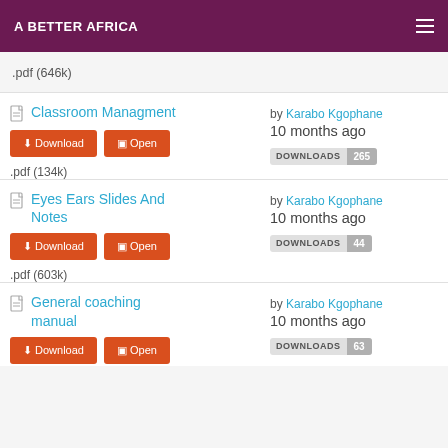A BETTER AFRICA
.pdf (646k)
Classroom Managment — by Karabo Kgophane, 10 months ago, DOWNLOADS 265, .pdf (134k)
Eyes Ears Slides And Notes — by Karabo Kgophane, 10 months ago, DOWNLOADS 44, .pdf (603k)
General coaching manual — by Karabo Kgophane, 10 months ago, DOWNLOADS 63